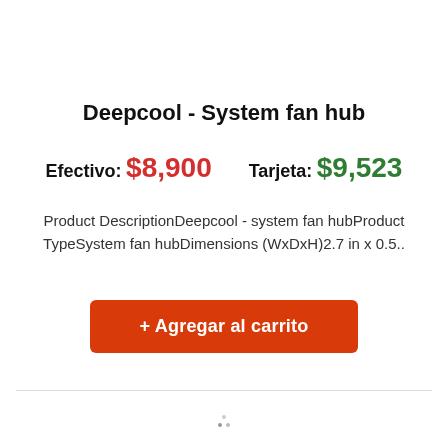Deepcool - System fan hub
Efectivo: $8,900    Tarjeta: $9,523
Product DescriptionDeepcool - system fan hubProduct TypeSystem fan hubDimensions (WxDxH)2.7 in x 0.5..
+ Agregar al carrito